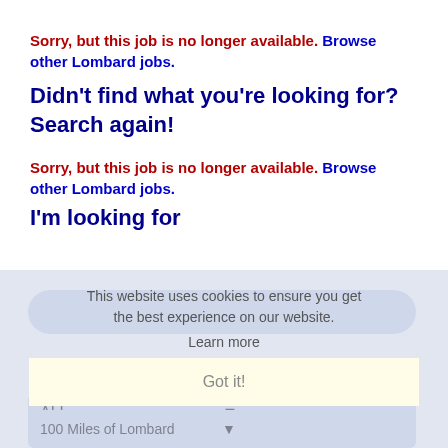Sorry, but this job is no longer available. Browse other Lombard jobs.
Didn't find what you're looking for? Search again!
Sorry, but this job is no longer available. Browse other Lombard jobs.
I'm looking for
[Figure (screenshot): Cookie consent overlay with text: This website uses cookies to ensure you get the best experience on our website. Learn more. Got it button.]
in category
ALL dropdown
within
100 Miles of Lombard dropdown